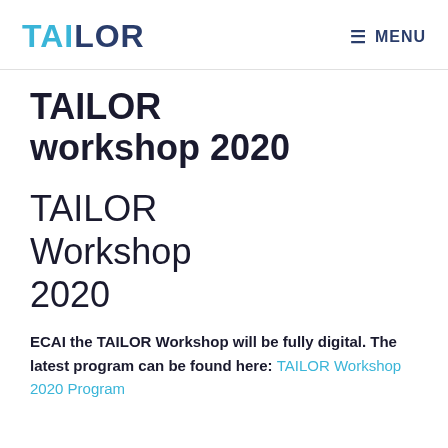TAILOR   ≡ MENU
TAILOR workshop 2020
TAILOR Workshop 2020
ECAI the TAILOR Workshop will be fully digital. The latest program can be found here: TAILOR Workshop 2020 Program